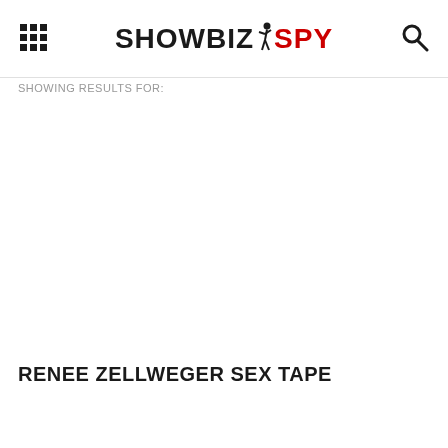SHOWBIZ SPY
SHOWING RESULTS FOR:
RENEE ZELLWEGER SEX TAPE